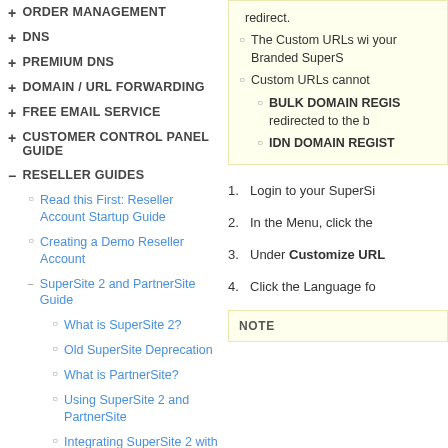+ ORDER MANAGEMENT
+ DNS
+ PREMIUM DNS
+ DOMAIN / URL FORWARDING
+ FREE EMAIL SERVICE
+ CUSTOMER CONTROL PANEL GUIDE
- RESELLER GUIDES
Read this First: Reseller Account Startup Guide
Creating a Demo Reseller Account
SuperSite 2 and PartnerSite Guide
What is SuperSite 2?
Old SuperSite Deprecation
What is PartnerSite?
Using SuperSite 2 and PartnerSite
Integrating SuperSite 2 with
redirect.
The Custom URLs wi... your Branded SuperS...
Custom URLs cannot
BULK DOMAIN REGIS... redirected to the b...
IDN DOMAIN REGIST
1. Login to your SuperSi...
2. In the Menu, click the...
3. Under Customize URL...
4. Click the Language fo...
NOTE